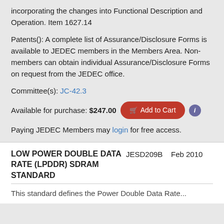incorporating the changes into Functional Description and Operation. Item 1627.14
Patents(): A complete list of Assurance/Disclosure Forms is available to JEDEC members in the Members Area. Non-members can obtain individual Assurance/Disclosure Forms on request from the JEDEC office.
Committee(s): JC-42.3
Available for purchase: $247.00  [Add to Cart]  [i]
Paying JEDEC Members may login for free access.
LOW POWER DOUBLE DATA RATE (LPDDR) SDRAM STANDARD   JESD209B   Feb 2010
This standard defines the Power Double Data Rate...